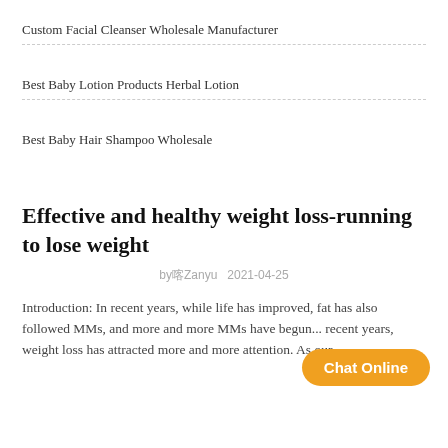Custom Facial Cleanser Wholesale Manufacturer
Best Baby Lotion Products Herbal Lotion
Best Baby Hair Shampoo Wholesale
Effective and healthy weight loss-running to lose weight
by喀Zanyu   2021-04-25
Introduction: In recent years, while life has improved, fat has also followed MMs, and more and more MMs have begun... recent years, weight loss has attracted more and more attention. As our